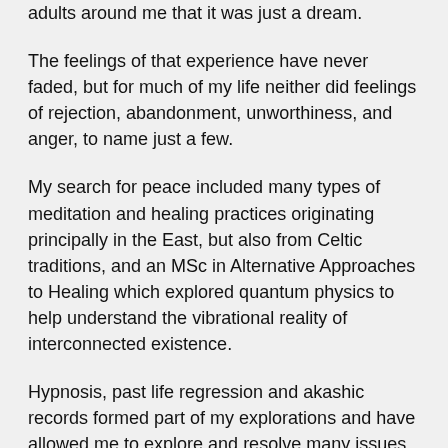adults around me that it was just a dream.
The feelings of that experience have never faded, but for much of my life neither did feelings of rejection, abandonment, unworthiness, and anger, to name just a few.
My search for peace included many types of meditation and healing practices originating principally in the East, but also from Celtic traditions, and an MSc in Alternative Approaches to Healing which explored quantum physics to help understand the vibrational reality of interconnected existence.
Hypnosis, past life regression and akashic records formed part of my explorations and have allowed me to explore and resolve many issues that were impacting this incarnation.
It's my joy to share this session with you in the hope that you also